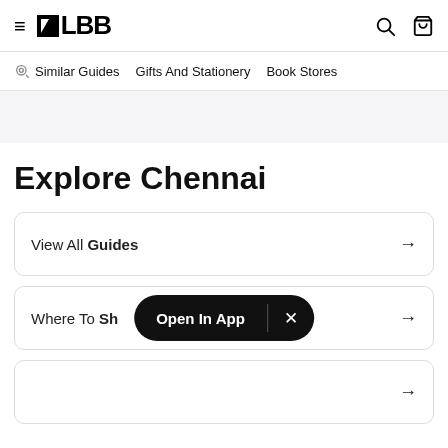LBB - hamburger menu, search, and bag icons in header
Similar Guides  Gifts And Stationery  Book Stores
[Figure (other): Gray advertisement banner]
Explore Chennai
View All Guides →
Where To Sh... →
[Figure (screenshot): Open In App popup with X close button overlay]
(partial card at bottom)